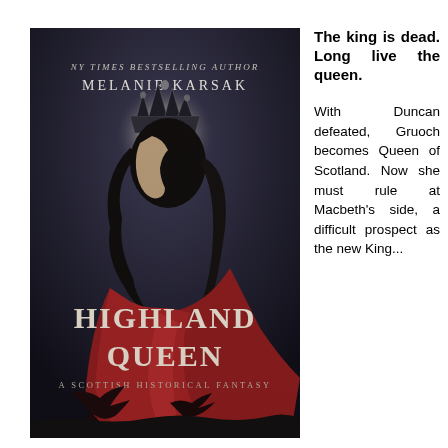[Figure (illustration): Book cover of 'Highland Queen' by Melanie Karsak. Shows a woman with dark hair wearing a dark crown, seen from behind, with a red cloak billowing. A large full moon glows behind her. Dark ravens fly at the bottom. Text reads: NY TIMES BESTSELLING AUTHOR MELANIE KARSAK, HIGHLAND QUEEN, A SCOTTISH HISTORICAL FANTASY.]
The king is dead.
Long live the queen.

With Duncan defeated, Gruoch becomes Queen of Scotland. Now she must rule at Macbeth's side, a difficult prospect as the new King...